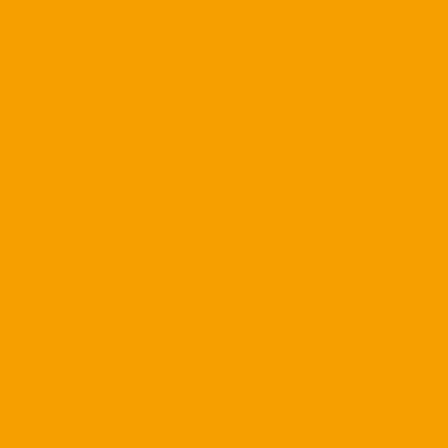Posted by: 86Cane | October 18, 2
[Figure (illustration): Square avatar with blue-gray snowflake/star geometric pattern on light blue-gray background]
But U can't be serious saying Comedy.
Posted by: Terrance Sullivan
Terrance is always about foll
I like that, I like it a lot.
Posted by: 86Cane | October
************************************
In addition, all his points are more impressive then anything crowd sellouts that is only ad
Posted by: raizecane | October 18,
[Figure (illustration): Square avatar with dark red/maroon background and gold circular cross/anchor symbol]
If we beat Syracuse, we wou Toledo's QB, we would have